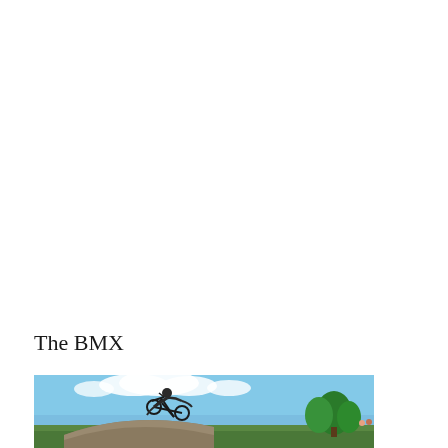The BMX
[Figure (photo): A BMX rider performing a trick outdoors against a blue sky with clouds and green trees in the background]